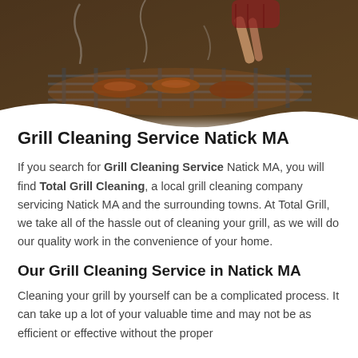[Figure (photo): A person grilling food on a barbecue grill, dark smoky background with warm lighting, hands visible holding tongs over the grill grate with food. A wave-shaped white overlay cuts across the bottom of the image.]
Grill Cleaning Service Natick MA
If you search for Grill Cleaning Service Natick MA, you will find Total Grill Cleaning, a local grill cleaning company servicing Natick MA and the surrounding towns. At Total Grill, we take all of the hassle out of cleaning your grill, as we will do our quality work in the convenience of your home.
Our Grill Cleaning Service in Natick MA
Cleaning your grill by yourself can be a complicated process. It can take up a lot of your valuable time and may not be as efficient or effective without the proper